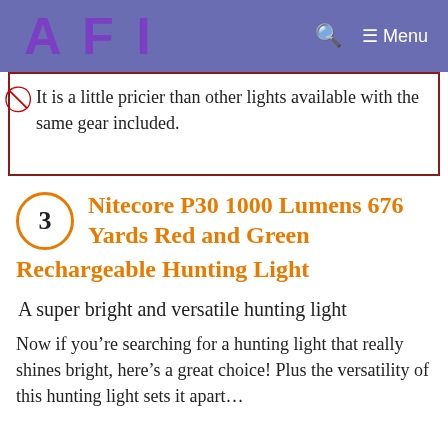AFI  Menu
It is a little pricier than other lights available with the same gear included.
3 Nitecore P30 1000 Lumens 676 Yards Red and Green Rechargeable Hunting Light
A super bright and versatile hunting light
Now if you’re searching for a hunting light that really shines bright, here’s a great choice! Plus the versatility of this hunting light sets it apart…